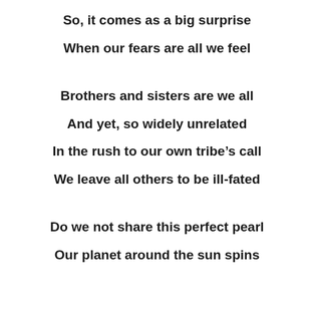So, it comes as a big surprise
When our fears are all we feel
Brothers and sisters are we all
And yet, so widely unrelated
In the rush to our own tribe’s call
We leave all others to be ill-fated
Do we not share this perfect pearl
Our planet around the sun spins